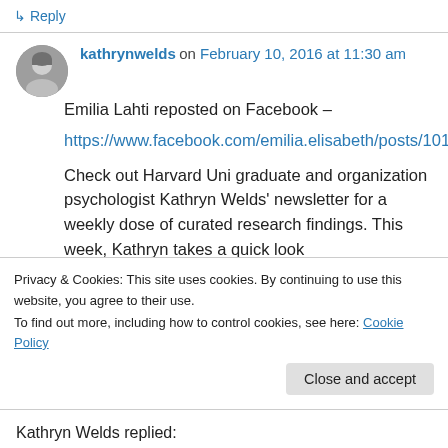↳ Reply
kathrynwelds on February 10, 2016 at 11:30 am
Emilia Lahti reposted on Facebook – https://www.facebook.com/emilia.elisabeth/posts/10153225280330303
Check out Harvard Uni graduate and organization psychologist Kathryn Welds' newsletter for a weekly dose of curated research findings. This week, Kathryn takes a quick look
Privacy & Cookies: This site uses cookies. By continuing to use this website, you agree to their use.
To find out more, including how to control cookies, see here: Cookie Policy
Close and accept
Kathryn Welds replied: